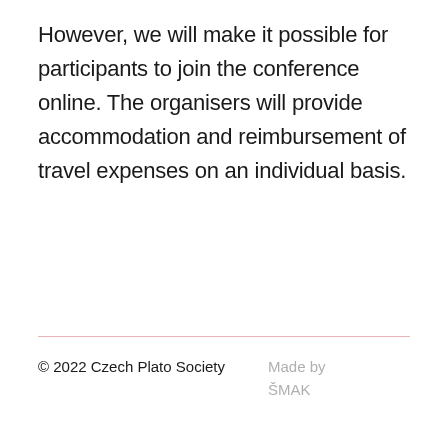However, we will make it possible for participants to join the conference online. The organisers will provide accommodation and reimbursement of travel expenses on an individual basis.
© 2022 Czech Plato Society   Made by ŠMAK